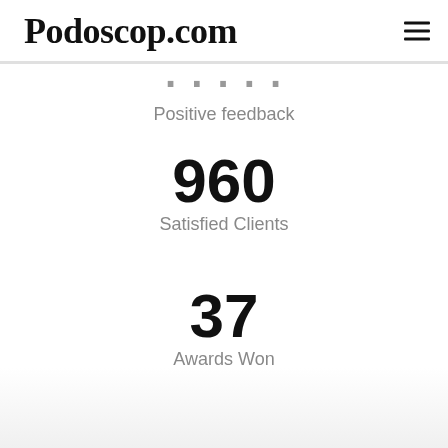Podoscop.com
Positive feedback
960
Satisfied Clients
37
Awards Won